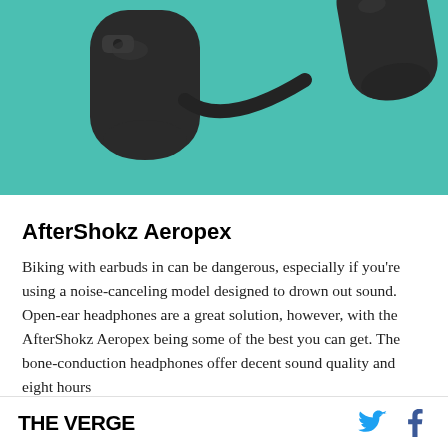[Figure (photo): AfterShokz Aeropex bone-conduction headphones photographed on a teal/turquoise background, showing the dark grey headphone device from above.]
AfterShokz Aeropex
Biking with earbuds in can be dangerous, especially if you're using a noise-canceling model designed to drown out sound. Open-ear headphones are a great solution, however, with the AfterShokz Aeropex being some of the best you can get. The bone-conduction headphones offer decent sound quality and eight hours
THE VERGE